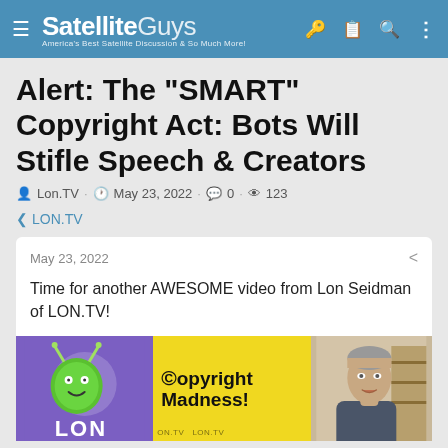SatelliteGuys — America's Best Satellite Discussion & So Much More!
Alert: The "SMART" Copyright Act: Bots Will Stifle Speech & Creators
Lon.TV · May 23, 2022 · 0 · 123
< LON.TV
May 23, 2022
Time for another AWESOME video from Lon Seidman of LON.TV!
[Figure (screenshot): Thumbnail image showing LON.TV logo on purple background left, yellow background with text '©opyright Madness!' in center, and a man speaking on right]